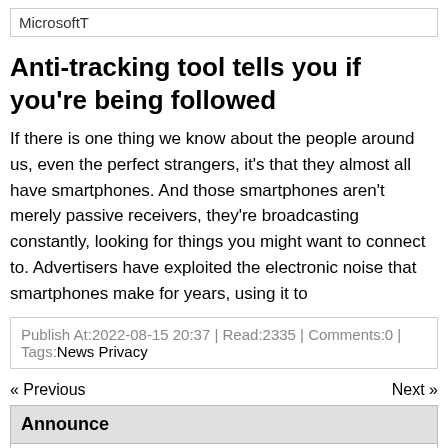MicrosoftT
Anti-tracking tool tells you if you're being followed
If there is one thing we know about the people around us, even the perfect strangers, it's that they almost all have smartphones. And those smartphones aren't merely passive receivers, they're broadcasting constantly, looking for things you might want to connect to. Advertisers have exploited the electronic noise that smartphones make for years, using it to
Publish At:2022-08-15 20:37 | Read:2335 | Comments:0 | Tags:News Privacy
« Previous
Next »
Announce
Share high-quality web security related articles with you:)
Donate 1$ : $1.00 USD - Per Month
Tell me why you support me <3